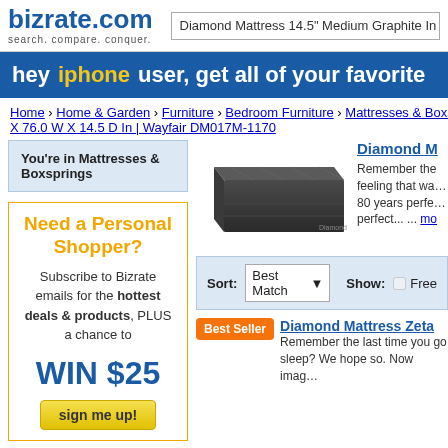bizrate.com search. compare. conquer. | Diamond Mattress 14.5" Medium Graphite In
[Figure (screenshot): Blue promotional banner: hey iphone user, get all of your favorite]
Home › Home & Garden › Furniture › Bedroom Furniture › Mattresses & Boxs… X 76.0 W X 14.5 D In | Wayfair DM017M-1170
You're in Mattresses & Boxsprings
[Figure (photo): Photo of a dark graphite mattress, low profile, rectangular]
Diamond M… Remember the feeling that wa… 80 years perfe… perfect... ... mo
Need a Personal Shopper? Subscribe to Bizrate emails for the hottest deals & products, PLUS a chance to WIN $25 sign me up!
Sort: Best Match ▼   Show: ☐ Free…
Diamond Mattress Zeta… Remember the last time you go sleep? We hope so. Now imag… Best Seller